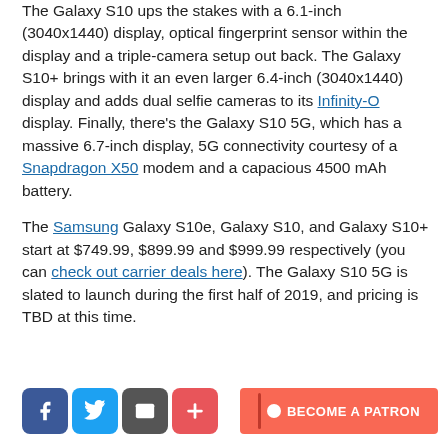The Galaxy S10 ups the stakes with a 6.1-inch (3040x1440) display, optical fingerprint sensor within the display and a triple-camera setup out back. The Galaxy S10+ brings with it an even larger 6.4-inch (3040x1440) display and adds dual selfie cameras to its Infinity-O display. Finally, there's the Galaxy S10 5G, which has a massive 6.7-inch display, 5G connectivity courtesy of a Snapdragon X50 modem and a capacious 4500 mAh battery.
The Samsung Galaxy S10e, Galaxy S10, and Galaxy S10+ start at $749.99, $899.99 and $999.99 respectively (you can check out carrier deals here). The Galaxy S10 5G is slated to launch during the first half of 2019, and pricing is TBD at this time.